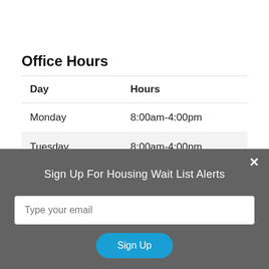Office Hours
| Day | Hours |
| --- | --- |
| Monday | 8:00am-4:00pm |
| Tuesday | 8:00am-4:00pm |
| Wednesday | 8:00am-4:00pm |
| Thursday | 8:00am-4:00pm |
Sign Up For Housing Wait List Alerts
Type your email
Sign Up